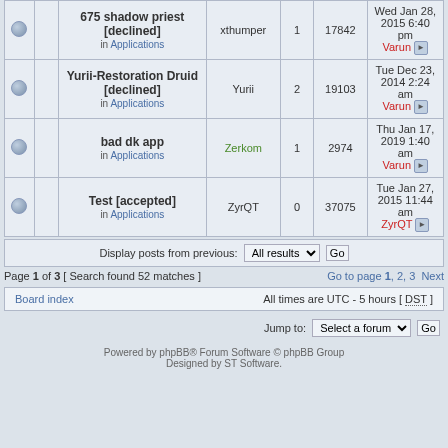|  |  | Topic | Author | Replies | Views | Last post |
| --- | --- | --- | --- | --- | --- | --- |
|  |  | 675 shadow priest [declined] in Applications | xthumper | 1 | 17842 | Wed Jan 28, 2015 6:40 pm Varun |
|  |  | Yurii-Restoration Druid [declined] in Applications | Yurii | 2 | 19103 | Tue Dec 23, 2014 2:24 am Varun |
|  |  | bad dk app in Applications | Zerkom | 1 | 2974 | Thu Jan 17, 2019 1:40 am Varun |
|  |  | Test [accepted] in Applications | ZyrQT | 0 | 37075 | Tue Jan 27, 2015 11:44 am ZyrQT |
Display posts from previous: All results Go
Page 1 of 3 [ Search found 52 matches ]
Go to page 1, 2, 3 Next
Board index
All times are UTC - 5 hours [ DST ]
Jump to: Select a forum Go
Powered by phpBB® Forum Software © phpBB Group Designed by ST Software.